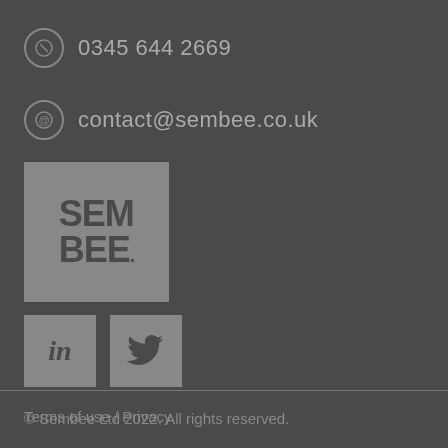0345 644 2669
contact@sembee.co.uk
[Figure (logo): Sembee logo — grey square background with dark text reading SEM BEE. with a small registered trademark dot]
[Figure (logo): LinkedIn social media icon — grey square with dark 'in' text]
[Figure (logo): Twitter social media icon — grey square with dark bird logo]
Terms of use / Privacy
© Sembee Ltd 2022. All rights reserved.